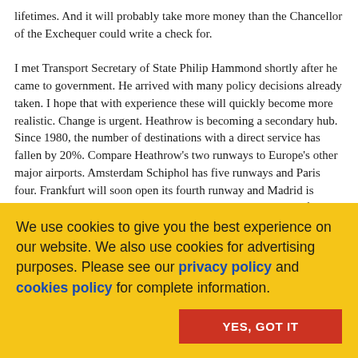lifetimes. And it will probably take more money than the Chancellor of the Exchequer could write a check for.

I met Transport Secretary of State Philip Hammond shortly after he came to government. He arrived with many policy decisions already taken. I hope that with experience these will quickly become more realistic. Change is urgent. Heathrow is becoming a secondary hub. Since 1980, the number of destinations with a direct service has fallen by 20%. Compare Heathrow's two runways to Europe's other major airports. Amsterdam Schiphol has five runways and Paris four. Frankfurt will soon open its fourth runway and Madrid is taking on a new strategic role as a major European hub with four runways and lots of room to grow. With the BA-Iberia merger, it will gain the most
We use cookies to give you the best experience on our website. We also use cookies for advertising purposes. Please see our privacy policy and cookies policy for complete information.
YES, GOT IT